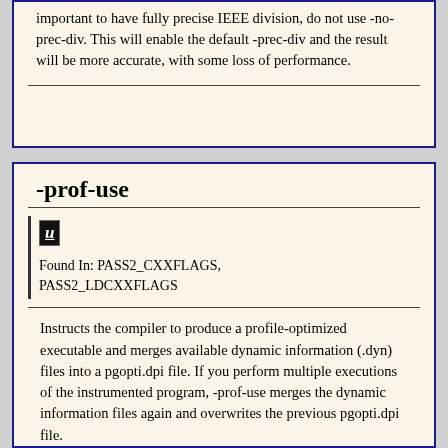important to have fully precise IEEE division, do not use -no-prec-div. This will enable the default -prec-div and the result will be more accurate, with some loss of performance.
-prof-use
U
Found In: PASS2_CXXFLAGS, PASS2_LDCXXFLAGS
Instructs the compiler to produce a profile-optimized executable and merges available dynamic information (.dyn) files into a pgopti.dpi file. If you perform multiple executions of the instrumented program, -prof-use merges the dynamic information files again and overwrites the previous pgopti.dpi file. Without any other options, the current